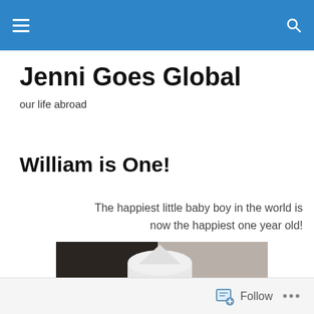Jenni Goes Global — navigation bar
Jenni Goes Global
our life abroad
William is One!
The happiest little baby boy in the world is now the happiest one year old!
[Figure (photo): Newborn baby wearing a white knit hat, wrapped in a white blanket, lying against a grey pillow]
Follow  •••